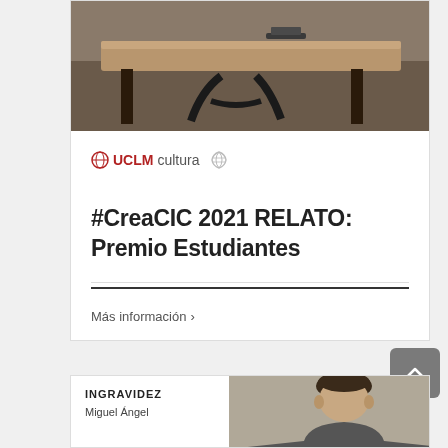[Figure (photo): Photo of a wooden desk seen from above or at an angle, with black metal chair legs visible, in a darkly lit room]
[Figure (logo): UCLM cultura logo with a globe/network icon on the left in red, UCLM in bold red, cultura in gray, and a swirl icon on the right]
#CreaCIC 2021 RELATO: Premio Estudiantes
Más información >
INGRAVIDEZ
Miguel Ángel